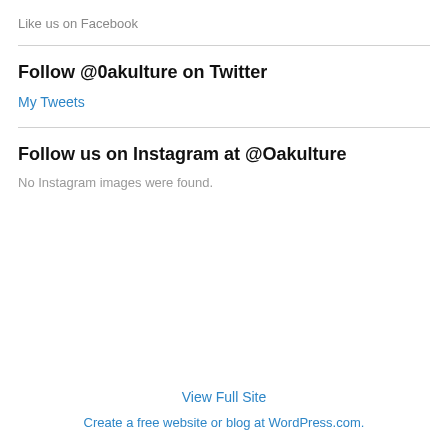Like us on Facebook
Follow @0akulture on Twitter
My Tweets
Follow us on Instagram at @Oakulture
No Instagram images were found.
View Full Site
Create a free website or blog at WordPress.com.